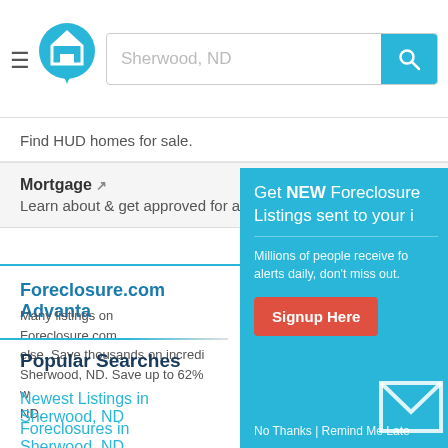Sherwood, ND — search bar with logo
Find HUD homes for sale.
Mortgage — Learn about & get approved for a Mortgage
Advertise here?
Foreclosure.com Advantage
Many listings on Foreclosure.com else. Save thousands on incredi Sherwood, ND. Save up to 62% ND.
Popular Searches
Newest Listings in Sherwood, ND
Foreclosures in Sherwood, ND
[Figure (screenshot): Popup overlay: Get NEW Foreclosure Listings sent to your [inbox]. Millions of people receive foreclosure alerts daily, don't miss out. Signup Here button. No Thanks | Remind Me Later links.]